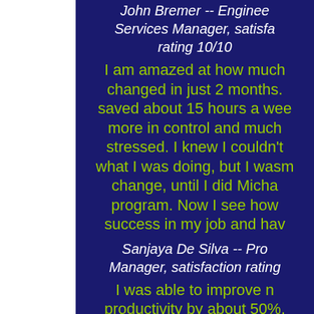John Bremer -- Engineering Services Manager, satisfaction rating 10/10
I am amazed at how much changed in just 2 months. I saved about 15 hours a week, more in control and much less stressed. I knew I couldn't keep what I was doing, but I wasn't ready to change, until I did Michael's program. Now I see how to create success in my job and have...
Sanjaya De Silva -- Project Manager, satisfaction rating...
I was able to improve my productivity by about 50%. Not only did I improve my organization skills (not just knowing what to do but DOING IT) I also felt...